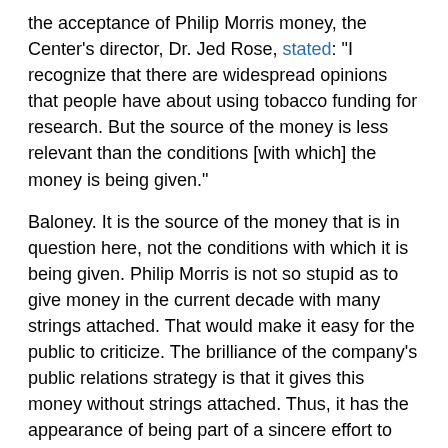the acceptance of Philip Morris money, the Center's director, Dr. Jed Rose, stated: "I recognize that there are widespread opinions that people have about using tobacco funding for research. But the source of the money is less relevant than the conditions [with which] the money is being given."
Baloney. It is the source of the money that is in question here, not the conditions with which it is being given. Philip Morris is not so stupid as to give money in the current decade with many strings attached. That would make it easy for the public to criticize. The brilliance of the company's public relations strategy is that it gives this money without strings attached. Thus, it has the appearance of being part of a sincere effort to undermine its business when it is actually a public relations effort.
That physicians in the Center and at Duke Medical Center are unable to see the role they are playing in undermining efforts to protect the public's health from the chief cause of preventable death is truly sad. And that they are defending it by noting that there are no strings attached is shameful.